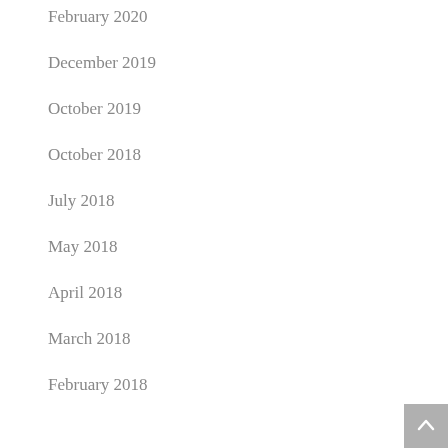February 2020
December 2019
October 2019
October 2018
July 2018
May 2018
April 2018
March 2018
February 2018